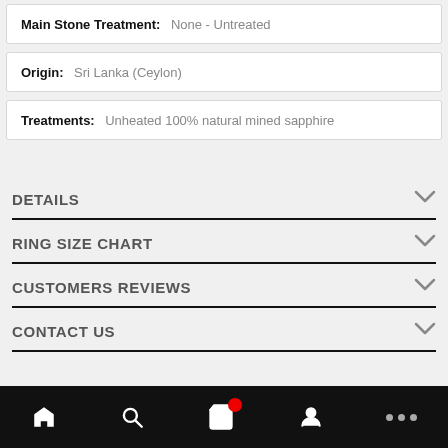Main Stone Treatment: None - Untreated
Origin: Sri Lanka (Ceylon)
Treatments: Unheated 100% natural mined sapphire
DETAILS
RING SIZE CHART
CUSTOMERS REVIEWS
CONTACT US
bottom navigation bar with home, search, cart, account, more icons